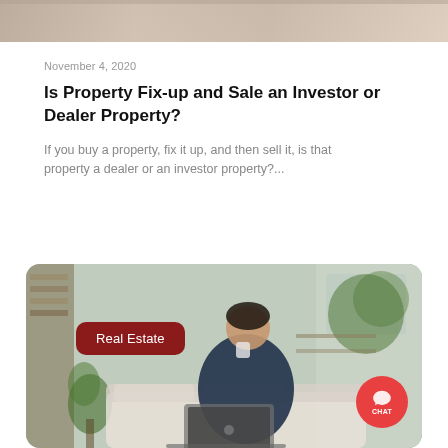[Figure (photo): Top portion of a cropped photo showing a person in a room, partially visible at top of page]
November 4, 2020
Is Property Fix-up and Sale an Investor or Dealer Property?
If you buy a property, fix it up, and then sell it, is that property a dealer or an investor property?...
[Figure (photo): Photo of a man sitting on a sofa drinking from a cup and working on a laptop in a modern living room with plants. A dark red 'Real Estate' badge overlays the image, and a red circular chat button with 'CHAT' text appears in the bottom right corner.]